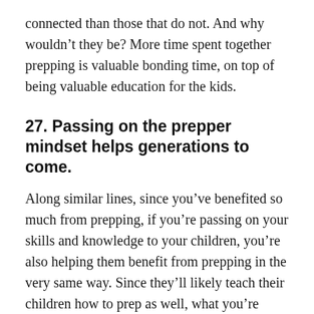connected than those that do not. And why wouldn't they be? More time spent together prepping is valuable bonding time, on top of being valuable education for the kids.
27. Passing on the prepper mindset helps generations to come.
Along similar lines, since you've benefited so much from prepping, if you're passing on your skills and knowledge to your children, you're also helping them benefit from prepping in the very same way. Since they'll likely teach their children how to prep as well, what you're doing is essentially helping to assure that your children's children's children will have the security brought about by the prepper lifestyle